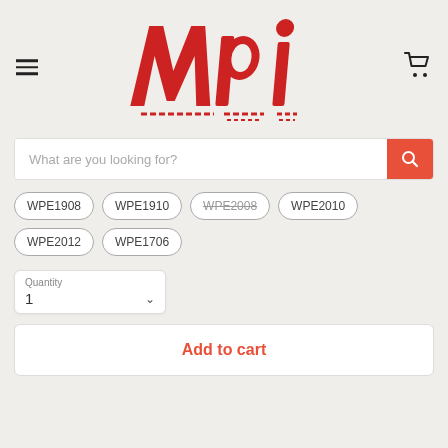[Figure (logo): MPI logo in red stylized lettering with speed-line accents]
What are you looking for?
WPE1908
WPE1910
WPE2008 (strikethrough)
WPE2010
WPE2012
WPE1706
Quantity
1
Add to cart